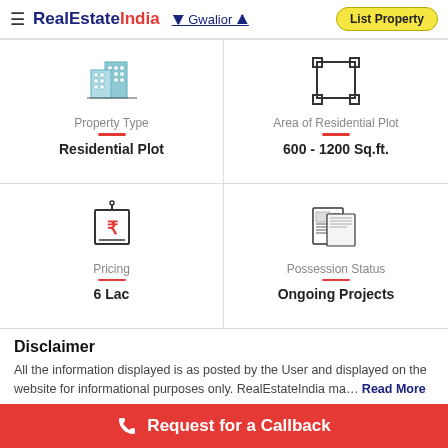RealEstateIndia — Gwalior — List Property
[Figure (infographic): Property Type icon: building/apartment blocks illustration]
Property Type
Residential Plot
[Figure (infographic): Area icon: rectangular selection/resize frame illustration]
Area of Residential Plot
600 - 1200 Sq.ft.
[Figure (infographic): Pricing icon: price tag with rupee symbol]
Pricing
6 Lac
[Figure (infographic): Possession Status icon: newspaper/documents illustration]
Possession Status
Ongoing Projects
Disclaimer
All the information displayed is as posted by the User and displayed on the website for informational purposes only. RealEstateIndia ma... Read More
Request for a Callback